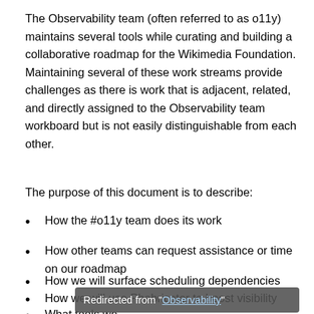The Observability team (often referred to as o11y) maintains several tools while curating and building a collaborative roadmap for the Wikimedia Foundation. Maintaining several of these work streams provide challenges as there is work that is adjacent, related, and directly assigned to the Observability team workboard but is not easily distinguishable from each other.
The purpose of this document is to describe:
How the #o11y team does its work
How other teams can request assistance or time on our roadmap
How we will surface scheduling dependencies
How we will use Phabricator to boost visibility
What tools we…
Redirected from "Observability"